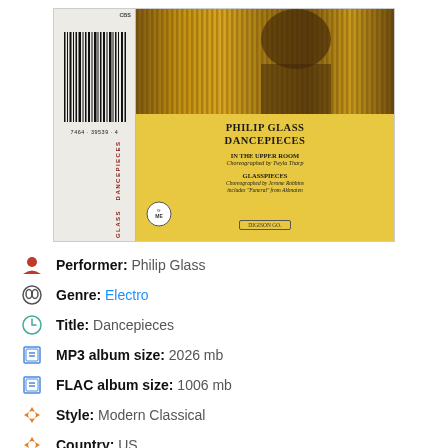[Figure (photo): Album cover for Philip Glass Dancepieces on CBS label. Yellow cover with brown/gold vertical stripe photo at top. Shows title PHILIP GLASS DANCEPIECES, IN THE UPPER ROOM choreographed by Twyla Tharp, GLASSPIECES choreographed by Jerome Robbins includes Funeral from Akhnaten. Barcode on left spine area.]
Performer: Philip Glass
Genre: Electro
Title: Dancepieces
MP3 album size: 2026 mb
FLAC album size: 1006 mb
Style: Modern Classical
Country: US
Released: 1987